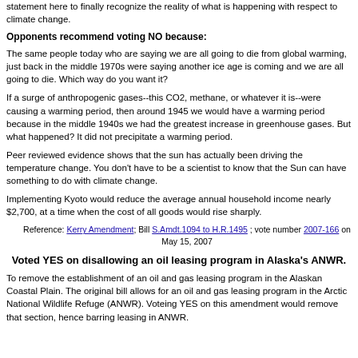statement here to finally recognize the reality of what is happening with respect to climate change.
Opponents recommend voting NO because:
The same people today who are saying we are all going to die from global warming, just back in the middle 1970s were saying another ice age is coming and we are all going to die. Which way do you want it?
If a surge of anthropogenic gases--this CO2, methane, or whatever it is--were causing a warming period, then around 1945 we would have a warming period because in the middle 1940s we had the greatest increase in greenhouse gases. But what happened? It did not precipitate a warming period.
Peer reviewed evidence shows that the sun has actually been driving the temperature change. You don't have to be a scientist to know that the Sun can have something to do with climate change.
Implementing Kyoto would reduce the average annual household income nearly $2,700, at a time when the cost of all goods would rise sharply.
Reference: Kerry Amendment; Bill S.Amdt.1094 to H.R.1495 ; vote number 2007-166 on May 15, 2007
Voted YES on disallowing an oil leasing program in Alaska's ANWR.
To remove the establishment of an oil and gas leasing program in the Alaskan Coastal Plain. The original bill allows for an oil and gas leasing program in the Arctic National Wildlife Refuge (ANWR). Voteing YES on this amendment would remove that section, hence barring leasing in ANWR.